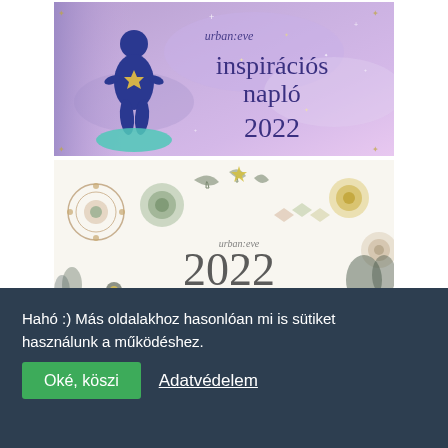[Figure (illustration): Urban Eve inspirációs napló 2022 - purple/blue illustrated journal cover with a blue silhouette figure and sparkling stars on a pink/purple background]
[Figure (illustration): Urban Eve 2022 falinaptár - white wall calendar cover with hand-drawn botanical illustrations, mandalas, and decorative elements in muted green, gold, and grey tones]
Hahó :) Más oldalakhoz hasonlóan mi is sütiket használunk a működéshez.
Oké, köszi
Adatvédelem